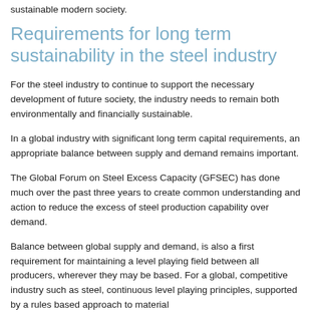sustainable modern society.
Requirements for long term sustainability in the steel industry
For the steel industry to continue to support the necessary development of future society, the industry needs to remain both environmentally and financially sustainable.
In a global industry with significant long term capital requirements, an appropriate balance between supply and demand remains important.
The Global Forum on Steel Excess Capacity (GFSEC) has done much over the past three years to create common understanding and action to reduce the excess of steel production capability over demand.
Balance between global supply and demand, is also a first requirement for maintaining a level playing field between all producers, wherever they may be based. For a global, competitive industry such as steel, continuous level playing principles, supported by a rules based approach to material